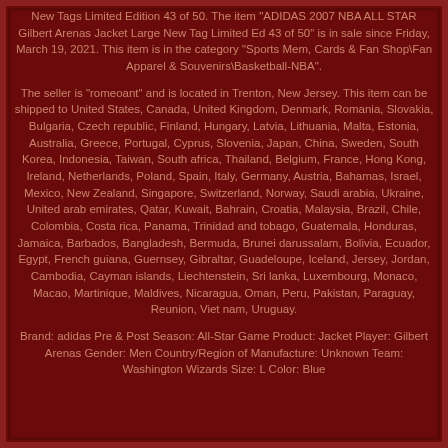New Tags Limited Edition 43 of 50. The item "ADIDAS 2007 NBA ALL STAR Gilbert Arenas Jacket Large New Tag Limited Ed 43 of 50" is in sale since Friday, March 19, 2021. This item is in the category "Sports Mem, Cards & Fan Shop\Fan Apparel & Souvenirs\Basketball-NBA".
The seller is "romeoant" and is located in Trenton, New Jersey. This item can be shipped to United States, Canada, United Kingdom, Denmark, Romania, Slovakia, Bulgaria, Czech republic, Finland, Hungary, Latvia, Lithuania, Malta, Estonia, Australia, Greece, Portugal, Cyprus, Slovenia, Japan, China, Sweden, South Korea, Indonesia, Taiwan, South africa, Thailand, Belgium, France, Hong Kong, Ireland, Netherlands, Poland, Spain, Italy, Germany, Austria, Bahamas, Israel, Mexico, New Zealand, Singapore, Switzerland, Norway, Saudi arabia, Ukraine, United arab emirates, Qatar, Kuwait, Bahrain, Croatia, Malaysia, Brazil, Chile, Colombia, Costa rica, Panama, Trinidad and tobago, Guatemala, Honduras, Jamaica, Barbados, Bangladesh, Bermuda, Brunei darussalam, Bolivia, Ecuador, Egypt, French guiana, Guernsey, Gibraltar, Guadeloupe, Iceland, Jersey, Jordan, Cambodia, Cayman islands, Liechtenstein, Sri lanka, Luxembourg, Monaco, Macao, Martinique, Maldives, Nicaragua, Oman, Peru, Pakistan, Paraguay, Reunion, Viet nam, Uruguay.
Brand: adidas Pre & Post Season: All-Star Game Product: Jacket Player: Gilbert Arenas Gender: Men Country/Region of Manufacture: Unknown Team: Washington Wizards Size: L Color: Blue